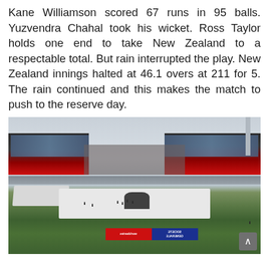Kane Williamson scored 67 runs in 95 balls. Yuzvendra Chahal took his wicket. Ross Taylor holds one end to take New Zealand to a respectable total. But rain interrupted the play. New Zealand innings halted at 46.1 overs at 211 for 5. The rain continued and this makes the match to push to the reserve day.
[Figure (photo): Cricket ground with pitch covers on the field during rain interruption. Two large stadium buildings with red and glass facades are visible in the background. Spectators in stands. White tarpaulins cover the pitch area with a dark roller visible. Red and blue sponsor boards visible near the pitch. Overcast sky.]